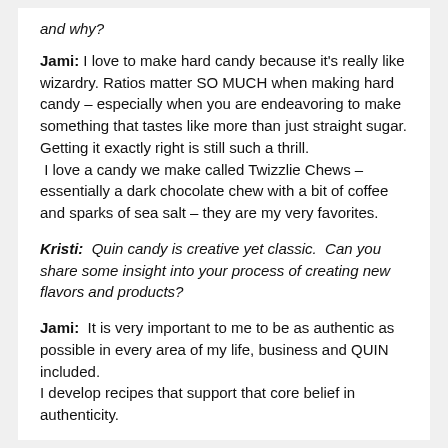and why?
Jami: I love to make hard candy because it’s really like wizardry. Ratios matter SO MUCH when making hard candy – especially when you are endeavoring to make something that tastes like more than just straight sugar. Getting it exactly right is still such a thrill.
 I love a candy we make called Twizzlie Chews – essentially a dark chocolate chew with a bit of coffee and sparks of sea salt – they are my very favorites.
Kristi: Quin candy is creative yet classic. Can you share some insight into your process of creating new flavors and products?
Jami: It is very important to me to be as authentic as possible in every area of my life, business and QUIN included.
I develop recipes that support that core belief in authenticity.